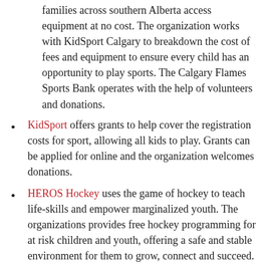families across southern Alberta access equipment at no cost. The organization works with KidSport Calgary to breakdown the cost of fees and equipment to ensure every child has an opportunity to play sports. The Calgary Flames Sports Bank operates with the help of volunteers and donations.
KidSport offers grants to help cover the registration costs for sport, allowing all kids to play. Grants can be applied for online and the organization welcomes donations.
HEROS Hockey uses the game of hockey to teach life-skills and empower marginalized youth. The organizations provides free hockey programming for at risk children and youth, offering a safe and stable environment for them to grow, connect and succeed.